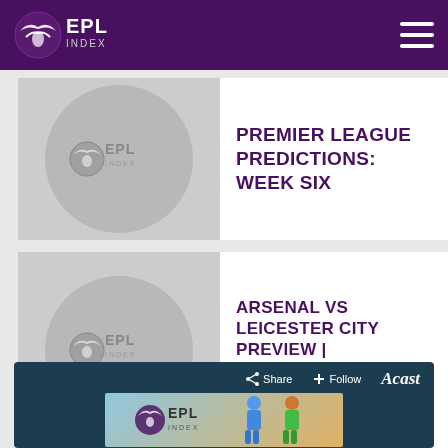EPL Index
PREMIER LEAGUE PREDICTIONS: WEEK SIX
ARSENAL VS LEICESTER CITY PREVIEW | PREDICTIONS, STATS AND KEY PLAYERS
[Figure (screenshot): News Now 'As Featured On' badge with FOOTBALL News 24/7 text and EPL INDEX NETWORK button]
[Figure (screenshot): Acast podcast widget with Share and Follow buttons, EPL Index logo, and footballer illustration]